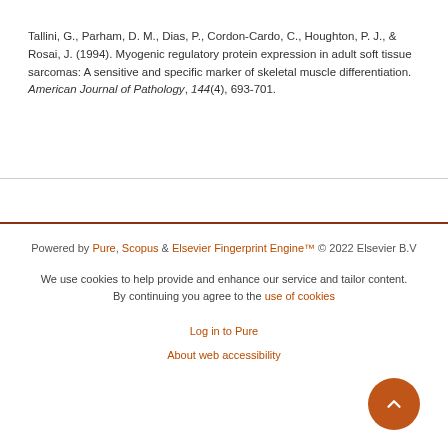Tallini, G., Parham, D. M., Dias, P., Cordon-Cardo, C., Houghton, P. J., & Rosai, J. (1994). Myogenic regulatory protein expression in adult soft tissue sarcomas: A sensitive and specific marker of skeletal muscle differentiation. American Journal of Pathology, 144(4), 693-701.
Powered by Pure, Scopus & Elsevier Fingerprint Engine™ © 2022 Elsevier B.V

We use cookies to help provide and enhance our service and tailor content. By continuing you agree to the use of cookies

Log in to Pure

About web accessibility